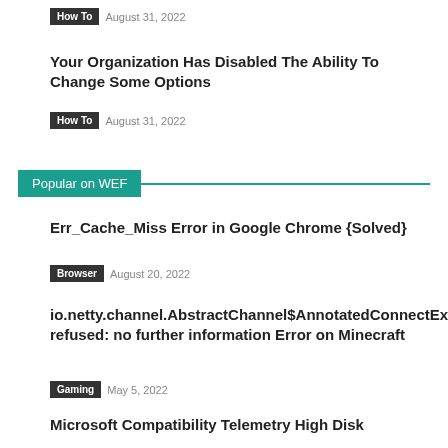How To   August 31, 2022
Your Organization Has Disabled The Ability To Change Some Options
How To   August 31, 2022
Popular on WEF
Err_Cache_Miss Error in Google Chrome {Solved}
Browser   August 20, 2022
io.netty.channel.AbstractChannel$AnnotatedConnectException:Connection refused: no further information Error on Minecraft
Gaming   May 5, 2022
Microsoft Compatibility Telemetry High Disk